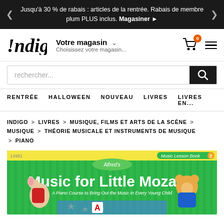Jusqu'à 30 % de rabais : articles de la rentrée. Rabais de membre plum PLUS inclus. Magasiner ▶
[Figure (logo): Indigo bookstore logo — stylized italic text '!ndigo']
Votre magasin ∨
Choisissez votre magasin...
rechercher...
RENTRÉE   HALLOWEEN   NOUVEAU   LIVRES   LIVRES EN...
INDIGO > LIVRES > MUSIQUE, FILMS ET ARTS DE LA SCÈNE > MUSIQUE > THÉORIE MUSICALE ET INSTRUMENTS DE MUSIQUE > PIANO
[Figure (photo): Book cover: Alfred's Music for Little Mozarts — Music Lesson Book 2. Green background with cartoon mouse and teddy bear characters, stars and musical notes.]